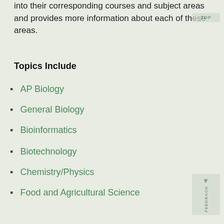into their corresponding courses and subject areas and provides more information about each of these areas.
Topics Include
AP Biology
General Biology
Bioinformatics
Biotechnology
Chemistry/Physics
Food and Agricultural Science